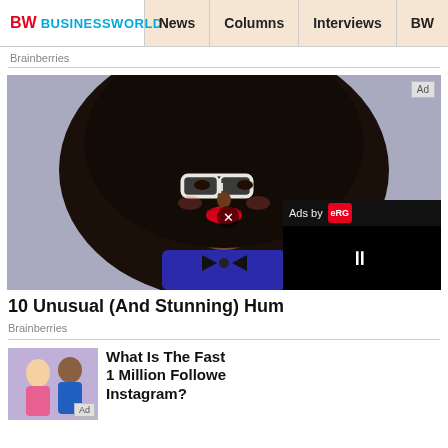BW BUSINESSWORLD | News | Columns | Interviews | BW
Brainberries
[Figure (photo): Fashion portrait of a young woman with large curly hair, white-rimmed glasses, and red lipstick, wearing a dark outfit with a bow tie, against a grey background. A video ad overlay appears in the bottom-right corner with 'Ads by' label and pause button.]
10 Unusual (And Stunning) Hum
Brainberries
[Figure (photo): Thumbnail image of two people in a social/casual setting.]
What Is The Fast 1 Million Followe Instagram?